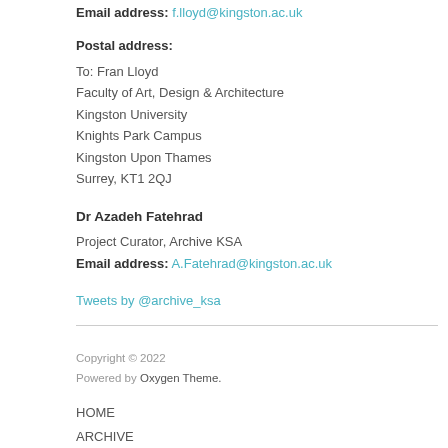Email address: f.lloyd@kingston.ac.uk
Postal address:
To: Fran Lloyd
Faculty of Art, Design & Architecture
Kingston University
Knights Park Campus
Kingston Upon Thames
Surrey, KT1 2QJ
Dr Azadeh Fatehrad
Project Curator, Archive KSA
Email address: A.Fatehrad@kingston.ac.uk
Tweets by @archive_ksa
Copyright © 2022
Powered by Oxygen Theme.
HOME
ARCHIVE